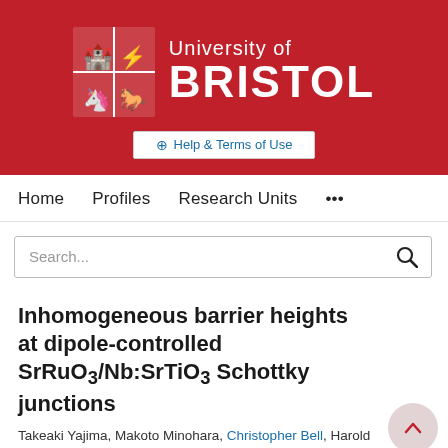[Figure (logo): University of Bristol logo: red shield emblem with heraldic animals on left, 'University of BRISTOL' text in white on red background, with 'Help & Terms of Use' button below]
Home   Profiles   Research Units   ...
Search...
Inhomogeneous barrier heights at dipole-controlled SrRuO3/Nb:SrTiO3 Schottky junctions
Takeaki Yajima, Makoto Minohara, Christopher Bell, Harold